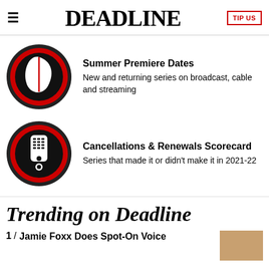DEADLINE
[Figure (illustration): Red and black circle with white leaf icon — Summer Premiere Dates promo]
Summer Premiere Dates
New and returning series on broadcast, cable and streaming
[Figure (illustration): Red and black circle with white TV remote/exclamation icon — Cancellations & Renewals Scorecard promo]
Cancellations & Renewals Scorecard
Series that made it or didn't make it in 2021-22
Trending on Deadline
1 / Jamie Foxx Does Spot-On Voice